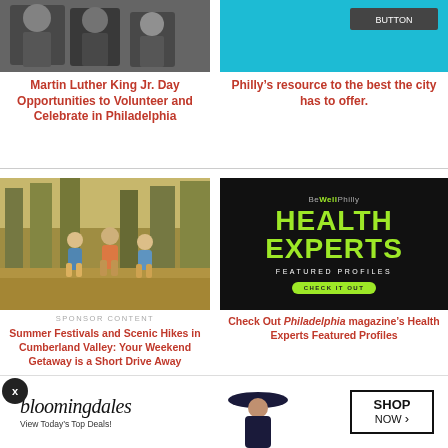[Figure (photo): Black and white photo of Martin Luther King Jr. with other individuals]
[Figure (screenshot): Cyan/teal background with a dark button placeholder at top right — Philly resource promotional image]
Martin Luther King Jr. Day Opportunities to Volunteer and Celebrate in Philadelphia
Philly’s resource to the best the city has to offer.
[Figure (photo): People jumping on a forest hiking trail in summer — Cumberland Valley outdoor scene]
[Figure (screenshot): BeWellPhilly Health Experts Featured Profiles advertisement with green text on black background]
SPONSOR CONTENT
Summer Festivals and Scenic Hikes in Cumberland Valley: Your Weekend Getaway is a Short Drive Away
Check Out Philadelphia magazine’s Health Experts Featured Profiles
[Figure (screenshot): Bloomingdale’s advertisement banner: View Today’s Top Deals! with model image and SHOP NOW button]